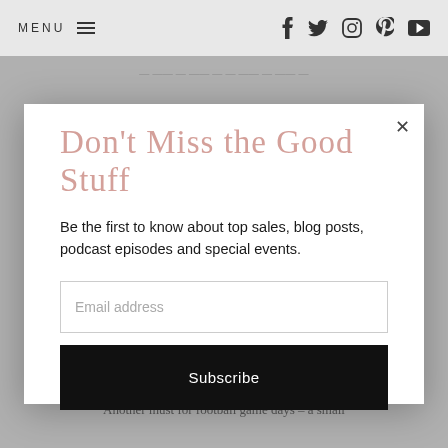MENU  f  Twitter  Instagram  Pinterest  YouTube
Don't Miss the Good Stuff
Be the first to know about top sales, blog posts, podcast episodes and special events.
Email address
Subscribe
(or that we are experiencing Alive obsession)
Another must for football game days – a small